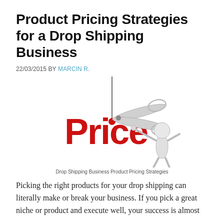Product Pricing Strategies for a Drop Shipping Business
22/03/2015 BY MARCIN R.
[Figure (illustration): A 3D cartoon figure cutting the word 'Price' in bold red letters with scissors. The figure is white/grey and holds large scissors cutting through a vertical string attached to the word Price.]
Drop Shipping Business Product Pricing Strategies
Picking the right products for your drop shipping can literally make or break your business. If you pick a great niche or product and execute well, your success is almost